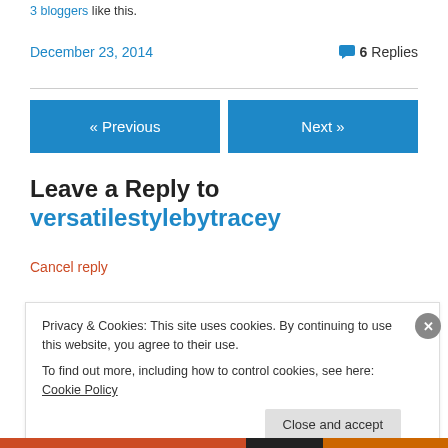3 bloggers like this.
December 23, 2014   6 Replies
« Previous
Next »
Leave a Reply to versatilestyleby tracey
Cancel reply
Privacy & Cookies: This site uses cookies. By continuing to use this website, you agree to their use. To find out more, including how to control cookies, see here: Cookie Policy
Close and accept